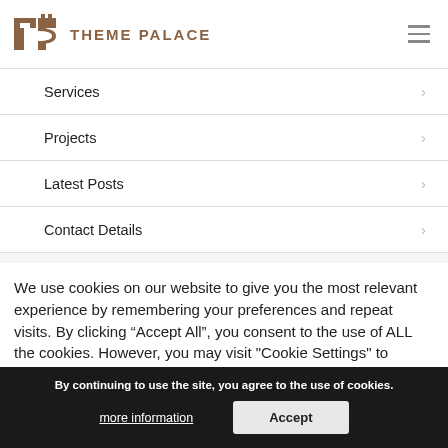THEME PALACE
Services
Projects
Latest Posts
Contact Details
We use cookies on our website to give you the most relevant experience by remembering your preferences and repeat visits. By clicking “Accept All”, you consent to the use of ALL the cookies. However, you may visit "Cookie Settings" to provide a controlled consent.
By continuing to use the site, you agree to the use of cookies.
more information
Accept